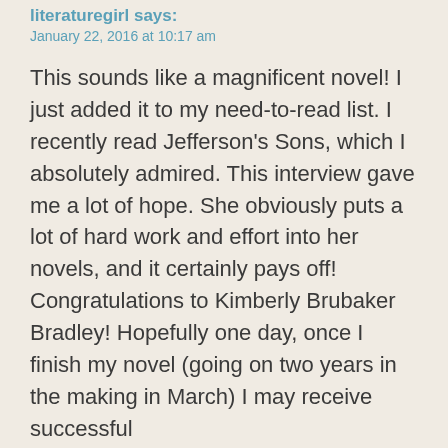literaturegirl says:
January 22, 2016 at 10:17 am
This sounds like a magnificent novel! I just added it to my need-to-read list. I recently read Jefferson’s Sons, which I absolutely admired. This interview gave me a lot of hope. She obviously puts a lot of hard work and effort into her novels, and it certainly pays off! Congratulations to Kimberly Brubaker Bradley! Hopefully one day, once I finish my novel (going on two years in the making in March) I may receive successful